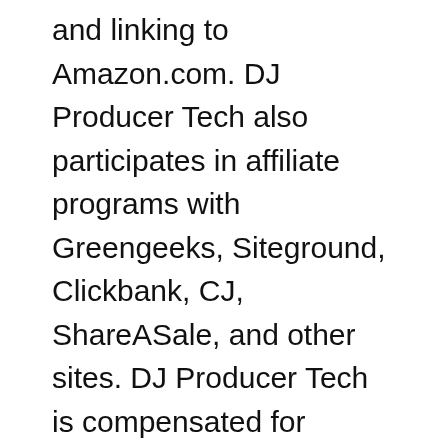and linking to Amazon.com. DJ Producer Tech also participates in affiliate programs with Greengeeks, Siteground, Clickbank, CJ, ShareASale, and other sites. DJ Producer Tech is compensated for referring traffic and business to these companies.
© DJ Producer Tech 2022   Privacy Policy   T&Cs
[Figure (logo): Ezoic logo with green circle-check icon and green text]
report this ad
[Figure (other): Scroll-to-top button, grey rounded rectangle with upward arrow]
x